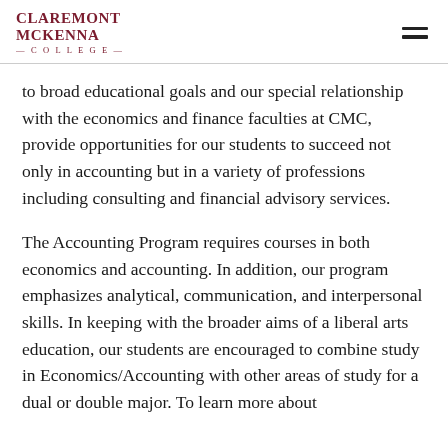Claremont McKenna College
to broad educational goals and our special relationship with the economics and finance faculties at CMC, provide opportunities for our students to succeed not only in accounting but in a variety of professions including consulting and financial advisory services.
The Accounting Program requires courses in both economics and accounting. In addition, our program emphasizes analytical, communication, and interpersonal skills. In keeping with the broader aims of a liberal arts education, our students are encouraged to combine study in Economics/Accounting with other areas of study for a dual or double major. To learn more about